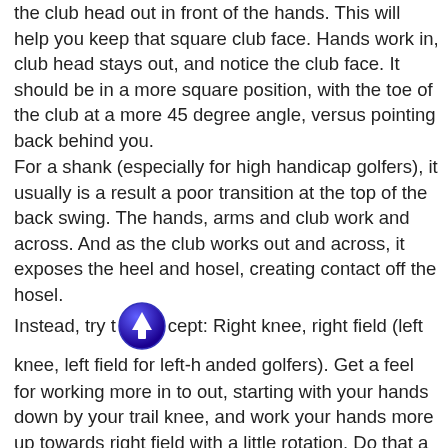the club head out in front of the hands. This will help you keep that square club face. Hands work in, club head stays out, and notice the club face. It should be in a more square position, with the toe of the club at a more 45 degree angle, versus pointing back behind you.
For a shank (especially for high handicap golfers), it usually is a result a poor transition at the top of the back swing. The hands, arms and club work and across. And as the club works out and across, it exposes the heel and hosel, creating contact off the hosel.
Instead, try this concept: Right knee, right field (left knee, left field for left-handed golfers). Get a feel for working more in to out, starting with your hands down by your trail knee, and work your hands more up towards right field with a little rotation. Do that a couple times, set in and hit a golf shot, replicating that feel of working your golf swing up and to the